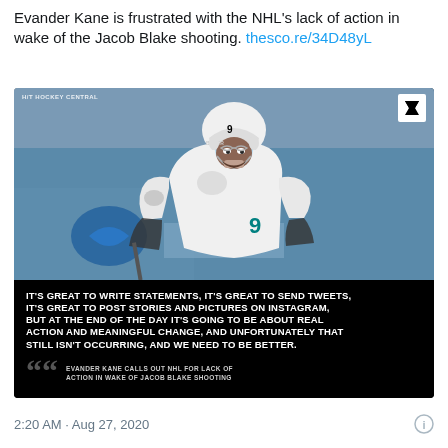Evander Kane is frustrated with the NHL's lack of action in wake of the Jacob Blake shooting. thesco.re/34D48yL
[Figure (photo): Photo of Evander Kane (#9) in San Jose Sharks white jersey leaning forward on ice, with a black overlay quote card at the bottom reading: IT'S GREAT TO WRITE STATEMENTS, IT'S GREAT TO SEND TWEETS, IT'S GREAT TO POST STORIES AND PICTURES ON INSTAGRAM, BUT AT THE END OF THE DAY IT'S GOING TO BE ABOUT REAL ACTION AND MEANINGFUL CHANGE, AND UNFORTUNATELY THAT STILL ISN'T OCCURRING, AND WE NEED TO BE BETTER. With subtext: EVANDER KANE CALLS OUT NHL FOR LACK OF ACTION IN WAKE OF JACOB BLAKE SHOOTING. Scorebook/Sportsnet logo in top right.]
2:20 AM · Aug 27, 2020